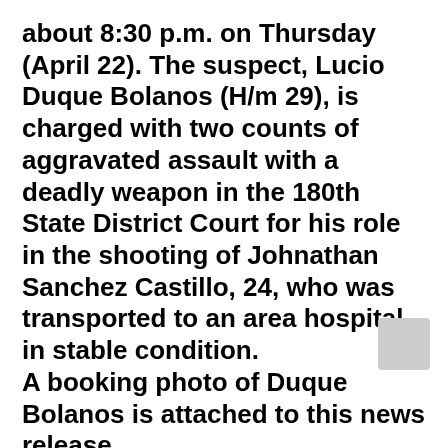about 8:30 p.m. on Thursday (April 22). The suspect, Lucio Duque Bolanos (H/m 29), is charged with two counts of aggravated assault with a deadly weapon in the 180th State District Court for his role in the shooting of Johnathan Sanchez Castillo, 24, who was transported to an area hospital in stable condition.
A booking photo of Duque Bolanos is attached to this news release.
HPD Major Assaults & Family Violence Division Detectives A. Graf II and F. Lee, Jr. reported:
Mr. Sanchez Castillo and others were in a vehicle playing a game on their